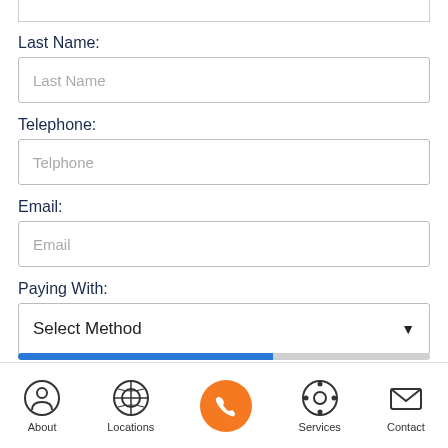Last Name:
Last Name
Telephone:
Telphone
Email:
Email
Paying With:
Select Method
About  Locations  [Call]  Services  Contact